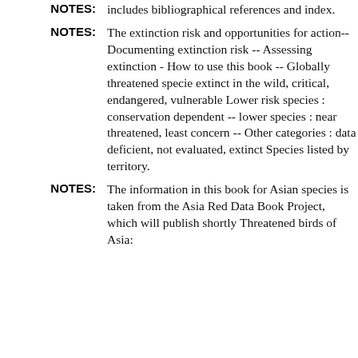NOTES: includes bibliographical references and index.
NOTES: The extinction risk and opportunities for action-- Documenting extinction risk -- Assessing extinction - How to use this book -- Globally threatened specie extinct in the wild, critical, endangered, vulnerable Lower risk species : conservation dependent -- lower species : near threatened, least concern -- Other categories : data deficient, not evaluated, extinct Species listed by territory.
NOTES: The information in this book for Asian species is taken from the Asia Red Data Book Project, which will publish shortly Threatened birds of Asia: